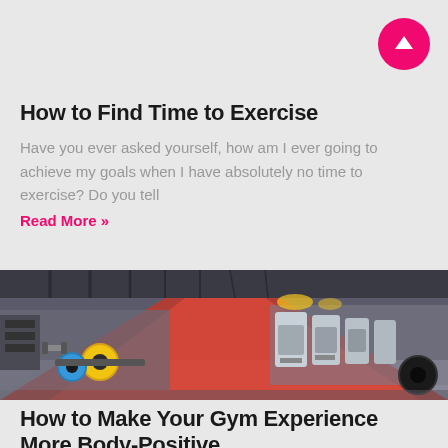[Figure (other): Pink circular scroll-to-top button with white upward arrow icon in top-right corner]
How to Find Time to Exercise
Have you ever asked yourself, how am I ever going to achieve my goals when I have absolutely no time to exercise?  Do you tell
Read More »
[Figure (photo): Interior of a modern gym with red carpet runner down the center, rows of treadmills on the right, weight equipment and barbells with colored plates on the left, high ceiling with exposed beams]
How to Make Your Gym Experience More Body-Positive